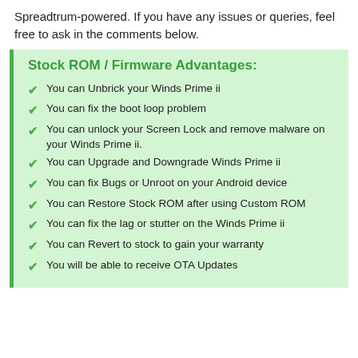Spreadtrum-powered. If you have any issues or queries, feel free to ask in the comments below.
Stock ROM / Firmware Advantages:
You can Unbrick your Winds Prime ii
You can fix the boot loop problem
You can unlock your Screen Lock and remove malware on your Winds Prime ii.
You can Upgrade and Downgrade Winds Prime ii
You can fix Bugs or Unroot on your Android device
You can Restore Stock ROM after using Custom ROM
You can fix the lag or stutter on the Winds Prime ii
You can Revert to stock to gain your warranty
You will be able to receive OTA Updates